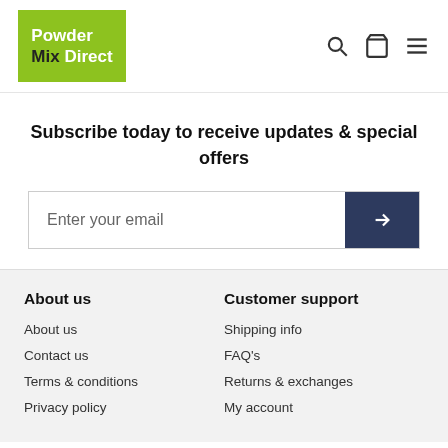Powder Mix Direct — logo and navigation icons
Subscribe today to receive updates & special offers
Enter your email
About us
About us
Contact us
Terms & conditions
Privacy policy
Customer support
Shipping info
FAQ's
Returns & exchanges
My account